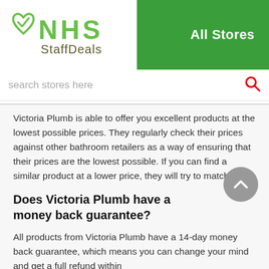NHS StaffDeals — All Stores
search stores here
Victoria Plumb is able to offer you excellent products at the lowest possible prices. They regularly check their prices against other bathroom retailers as a way of ensuring that their prices are the lowest possible. If you can find a similar product at a lower price, they will try to match it.
Does Victoria Plumb have a money back guarantee?
All products from Victoria Plumb have a 14-day money back guarantee, which means you can change your mind and get a full refund within